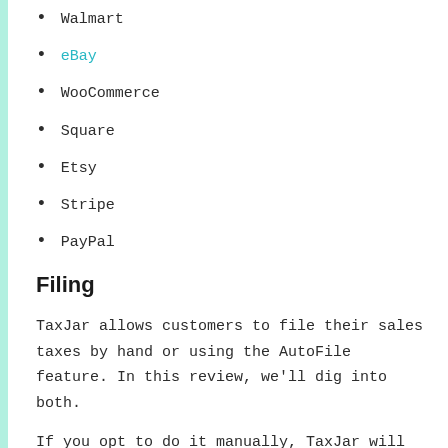Walmart
eBay
WooCommerce
Square
Etsy
Stripe
PayPal
Filing
TaxJar allows customers to file their sales taxes by hand or using the AutoFile feature. In this review, we'll dig into both.
If you opt to do it manually, TaxJar will allow you to connect all those sales tools. Once the time comes for filing income tax returns The team will guide you on managing these. It is up to you and your team members to complete everything in time.